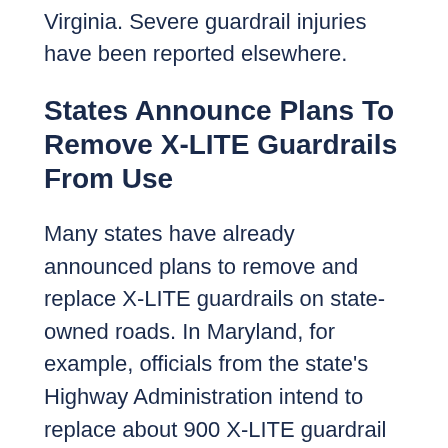Virginia. Severe guardrail injuries have been reported elsewhere.
States Announce Plans To Remove X-LITE Guardrails From Use
Many states have already announced plans to remove and replace X-LITE guardrails on state-owned roads. In Maryland, for example, officials from the state's Highway Administration intend to replace about 900 X-LITE guardrail end terminals, upgrading